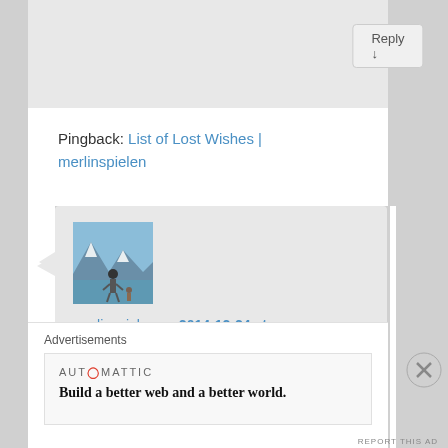Reply ↓
Pingback: List of Lost Wishes | merlinspielen
[Figure (photo): Avatar photo of a person standing at a scenic mountain lake with snow-capped peaks in the background]
merlinspielen on 2014-12-24 at 09:42 said:
Reblogged this on merlinspielen and commented:

This is my post from a while back on the true meaning of
Advertisements
AUTOMATTIC
Build a better web and a better world.